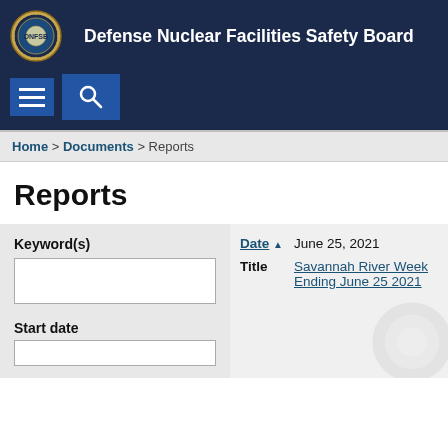Defense Nuclear Facilities Safety Board
Home > Documents > Reports
Reports
Keyword(s)
Start date
| Date | Title |
| --- | --- |
| June 25, 2021 | Savannah River Week Ending June 25 2021 |